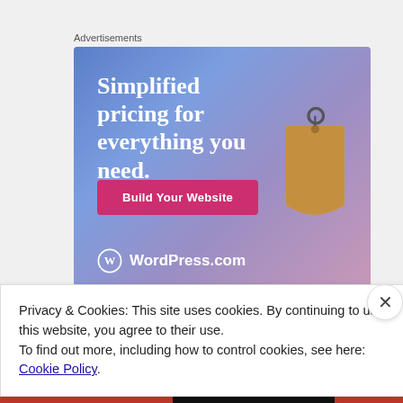Advertisements
[Figure (illustration): WordPress.com advertisement banner with blue-purple gradient background, headline 'Simplified pricing for everything you need.', a pink 'Build Your Website' button, a 3D price tag image on the right, and the WordPress.com logo at the bottom.]
Privacy & Cookies: This site uses cookies. By continuing to use this website, you agree to their use.
To find out more, including how to control cookies, see here: Cookie Policy
Close and accept